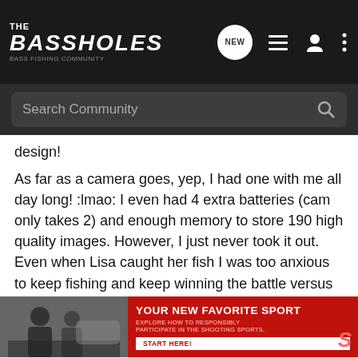THE BASSHOLES
design!
As far as a camera goes, yep, I had one with me all day long! :lmao: I even had 4 extra batteries (cam only takes 2) and enough memory to store 190 high quality images. However, I just never took it out. Even when Lisa caught her fish I was too anxious to keep fishing and keep winning the battle versus the rivers current that I just turned around, aimed my phones cam and snapped a quickie lol Every time i released one of my fish I kept saying "dang I should have taken a pic" lol I really do have to make more of an effort next time though. I think maybe i will start doing like I would in a tournament and put em all (the best 5 anyway) in the livewell. I guess it couldnt hurt and then I could photo th
[Figure (screenshot): Advertisement banner: YOUR NEW FAVORITE SPORT - EXPLORE HOW TO RESPONSIBLY PARTICIPATE IN THE SHOOTING SPORTS. START HERE!]